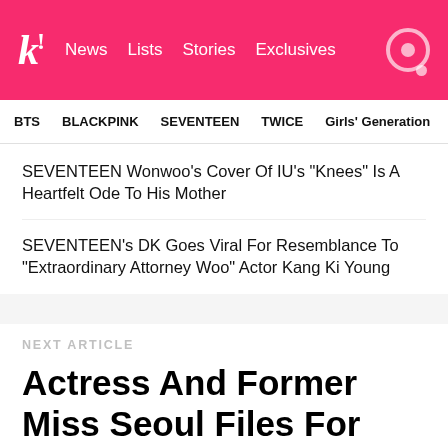k! News Lists Stories Exclusives
BTS   BLACKPINK   SEVENTEEN   TWICE   Girls' Generation
SEVENTEEN Wonwoo's Cover Of IU's "Knees" Is A Heartfelt Ode To His Mother
SEVENTEEN's DK Goes Viral For Resemblance To "Extraordinary Attorney Woo" Actor Kang Ki Young
NEXT ARTICLE
Actress And Former Miss Seoul Files For Divorce After 5 Years Of Marriage